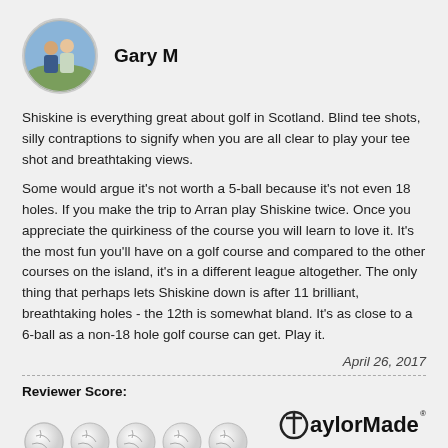[Figure (photo): Circular avatar photo of Gary M showing two people outdoors]
Gary M
Shiskine is everything great about golf in Scotland. Blind tee shots, silly contraptions to signify when you are all clear to play your tee shot and breathtaking views.
Some would argue it's not worth a 5-ball because it's not even 18 holes. If you make the trip to Arran play Shiskine twice. Once you appreciate the quirkiness of the course you will learn to love it. It's the most fun you'll have on a golf course and compared to the other courses on the island, it's in a different league altogether. The only thing that perhaps lets Shiskine down is after 11 brilliant, breathtaking holes - the 12th is somewhat bland. It's as close to a 6-ball as a non-18 hole golf course can get. Play it.
April 26, 2017
Reviewer Score:
[Figure (illustration): Five golf ball rating icons representing reviewer score]
[Figure (logo): TaylorMade logo]
Respond to above review
Was this review helpful?